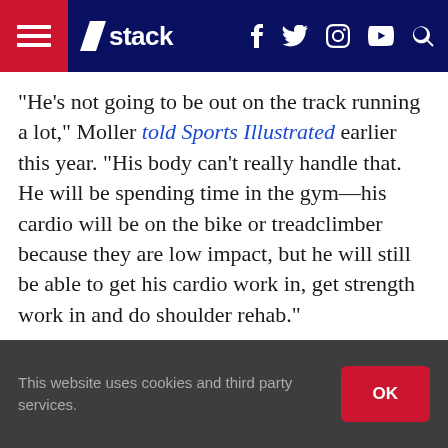stack (navigation bar with hamburger menu, logo, social icons)
“He’s not going to be out on the track running a lot,” Moller told Sports Illustrated earlier this year. “His body can’t really handle that. He will be spending time in the gym—his cardio will be on the bike or treadclimber because they are low impact, but he will still be able to get his cardio work in, get strength work in and do shoulder rehab.”
This website uses cookies and third party services.